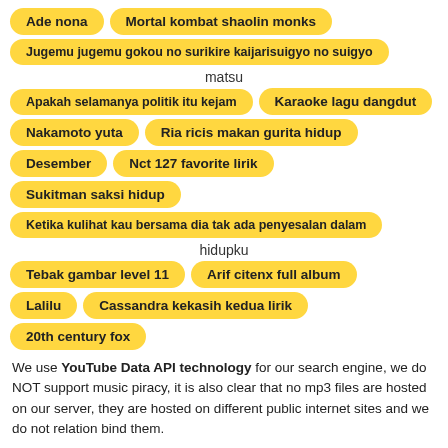Ade nona
Mortal kombat shaolin monks
Jugemu jugemu gokou no surikire kaijarisuigyo no suigyo
matsu
Apakah selamanya politik itu kejam
Karaoke lagu dangdut
Nakamoto yuta
Ria ricis makan gurita hidup
Desember
Nct 127 favorite lirik
Sukitman saksi hidup
Ketika kulihat kau bersama dia tak ada penyesalan dalam
hidupku
Tebak gambar level 11
Arif citenx full album
Lalilu
Cassandra kekasih kedua lirik
20th century fox
We use YouTube Data API technology for our search engine, we do NOT support music piracy, it is also clear that no mp3 files are hosted on our server, they are hosted on different public internet sites and we do not relation bind them.